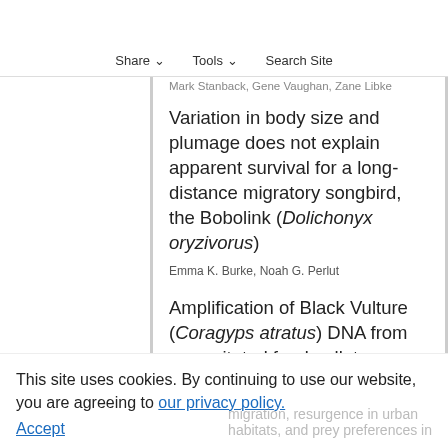influenced by island size or distance to mainland
Share  Tools  Search Site
Mark Stanback, Gene Vaughan, Zane Libke
Variation in body size and plumage does not explain apparent survival for a long-distance migratory songbird, the Bobolink (Dolichonyx oryzivorus)
Emma K. Burke, Noah G. Perlut
Amplification of Black Vulture (Coragyps atratus) DNA from regurgitated food pellets
Daniel R. Taylor, Bryan M. Kluever, John S. Humphrey, Iona M. Hennessy, Amber Sutton, William E. Bruce, Antoinette J. Piaggio
This site uses cookies. By continuing to use our website, you are agreeing to our privacy policy. Accept
migration, resurgence in urban habitats, and prey preferences in